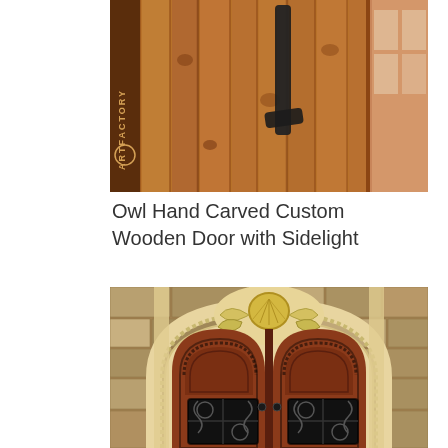[Figure (photo): Close-up photo of an owl hand-carved wooden door handle on rustic cedar wood planks with a sidelight panel visible on the right. ArtFactory logo/branding bar on the left side. Copyright 2014 ArtFactory.com LLC watermark on right edge.]
Owl Hand Carved Custom Wooden Door with Sidelight
[Figure (photo): Photo of an ornate double wooden door with carved decorative floral/shell ornament above the arched entry. The door features dark mahogany wood panels with arched tops, decorative iron scrollwork windows at the bottom of each door panel, and is framed by a cream/limestone carved stone surround with rope-twist molding. Stone exterior wall visible in background.]